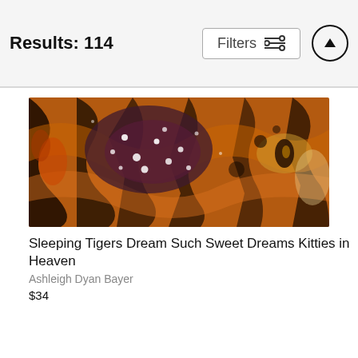Results: 114
Filters
[Figure (photo): Close-up painting of a tiger with swirling orange, black, and dark purple tones with white sparkle/pearl effects — abstract tiger art]
Sleeping Tigers Dream Such Sweet Dreams Kitties in Heaven
Ashleigh Dyan Bayer
$34